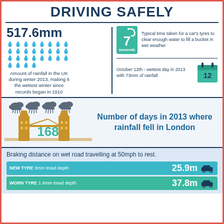DRIVING SAFELY
517.6mm — Amount of rainfall in the UK during winter 2013, making it the wettest winter since records began in 1910
7 seconds — Typical time taken for a car's tyres to clear enough water to fill a bucket in wet weather
October 12th - wettest day in 2013 with 73mm of rainfall
[Figure (infographic): Tower Bridge London with rain clouds and the number 168]
Number of days in 2013 where rainfall fell in London
Braking distance on wet road travelling at 50mph to rest.
NEW TYRE 8mm tread depth — 25.9m
WORN TYRE 1.6mm tread depth — 37.8m